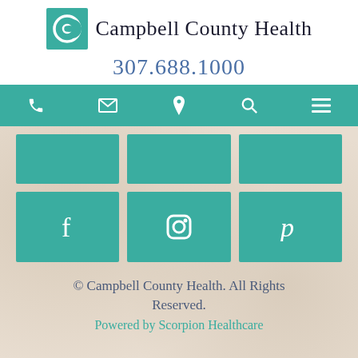[Figure (logo): Campbell County Health logo with teal square icon containing a crescent/C symbol and organization name text]
307.688.1000
[Figure (infographic): Teal navigation bar with five white icons: phone, envelope, location pin, search/magnifying glass, and hamburger menu]
[Figure (infographic): 3x2 grid of teal tiles. Top row: three plain teal tiles. Bottom row: Facebook icon, Instagram camera icon, Pinterest P icon]
© Campbell County Health. All Rights Reserved. Powered by Scorpion Healthcare